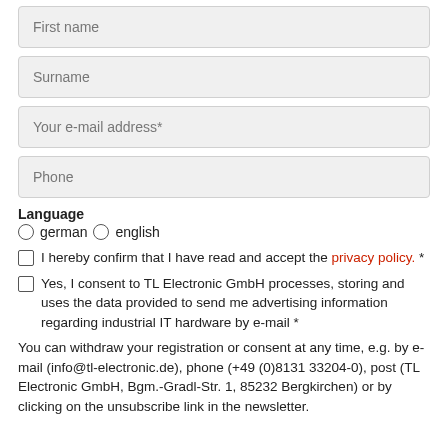First name
Surname
Your e-mail address*
Phone
Language
german  english
I hereby confirm that I have read and accept the privacy policy. *
Yes, I consent to TL Electronic GmbH processes, storing and uses the data provided to send me advertising information regarding industrial IT hardware by e-mail *
You can withdraw your registration or consent at any time, e.g. by e-mail (info@tl-electronic.de), phone (+49 (0)8131 33204-0), post (TL Electronic GmbH, Bgm.-Gradl-Str. 1, 85232 Bergkirchen) or by clicking on the unsubscribe link in the newsletter.